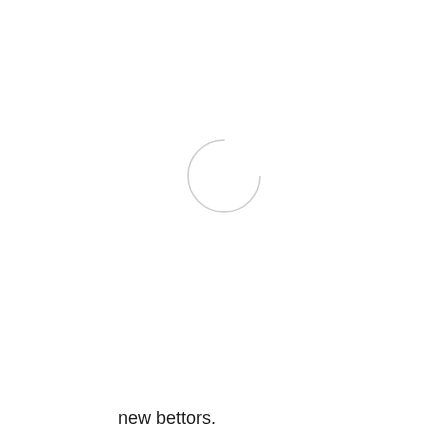[Figure (other): A small circle with a light gray partial arc/outline, positioned in the upper-center area of the page, resembling a loading spinner or decorative circle element.]
new bettors.